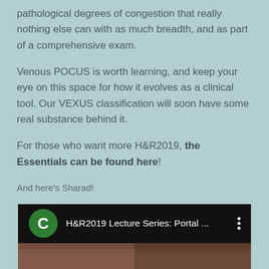pathological degrees of congestion that really nothing else can with as much breadth, and as part of a comprehensive exam.
Venous POCUS is worth learning, and keep your eye on this space for how it evolves as a clinical tool. Our VEXUS classification will soon have some real substance behind it.
For those who want more H&R2019, the Essentials can be found here!
And here’s Sharad!
[Figure (screenshot): YouTube video thumbnail showing a video titled 'H&R2019 Lecture Series: Portal ...' with a green channel icon showing the letter C, on a black background with three-dot menu icon.]